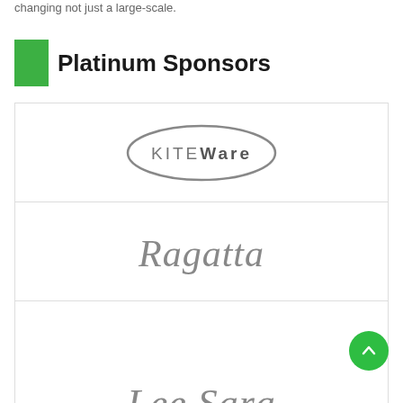changing not just a large-scale.
Platinum Sponsors
[Figure (logo): KITEWare logo — elliptical outline with KITE in thin caps and Ware in bold, gray color]
[Figure (logo): Ragatta script logo in gray italic handwriting style]
[Figure (logo): Lee Sara script logo in gray italic handwriting style]